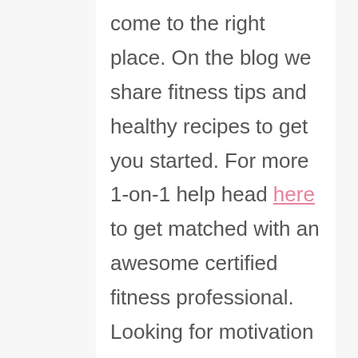come to the right place. On the blog we share fitness tips and healthy recipes to get you started. For more 1-on-1 help head here to get matched with an awesome certified fitness professional. Looking for motivation to start or stick to your routine? Check out my